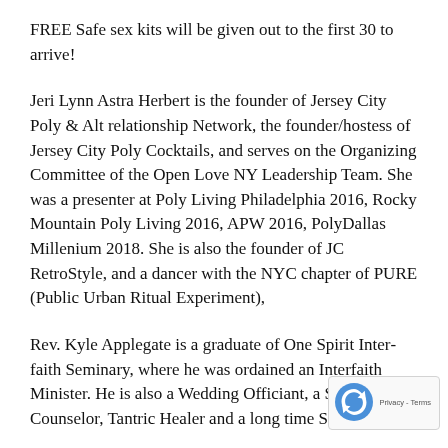FREE Safe sex kits will be given out to the first 30 to arrive!
Jeri Lynn Astra Herbert is the founder of Jersey City Poly & Alt relationship Network, the founder/hostess of Jersey City Poly Cocktails, and serves on the Organizing Committee of the Open Love NY Leadership Team. She was a presenter at Poly Living Philadelphia 2016, Rocky Mountain Poly Living 2016, APW 2016, PolyDallas Millenium 2018. She is also the founder of JC RetroStyle, and a dancer with the NYC chapter of PURE (Public Urban Ritual Experiment),
Rev. Kyle Applegate is a graduate of One Spirit Interfaith Seminary, where he was ordained an Interfaith Minister. He is also a Wedding Officiant, a Spiritual Counselor, Tantric Healer and a long time Sex